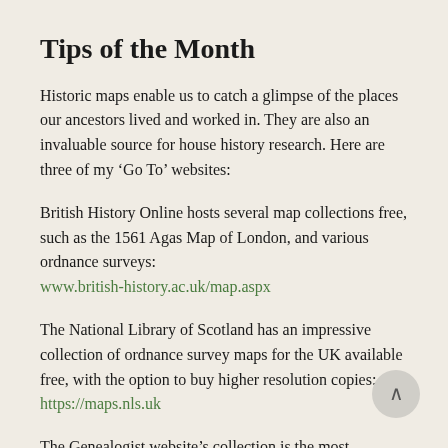Tips of the Month
Historic maps enable us to catch a glimpse of the places our ancestors lived and worked in. They are also an invaluable source for house history research. Here are three of my ‘Go To’ websites:
British History Online hosts several map collections free, such as the 1561 Agas Map of London, and various ordnance surveys: www.british-history.ac.uk/map.aspx
The National Library of Scotland has an impressive collection of ordnance survey maps for the UK available free, with the option to buy higher resolution copies: https://maps.nls.uk
The Genealogist website’s collection is the most comprehensive of the three main commercial